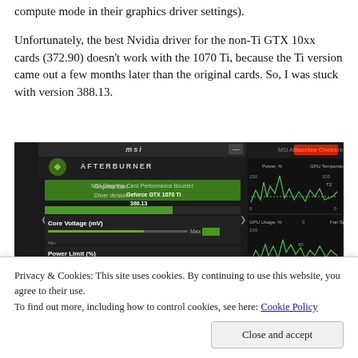compute mode in their graphics driver settings).
Unfortunately, the best Nvidia driver for the non-Ti GTX 10xx cards (372.90) doesn't work with the 1070 Ti, because the Ti version came out a few months later than the original cards. So, I was stuck with version 388.13.
[Figure (screenshot): Screenshot of MSI Afterburner application showing Geforce GTX 1070 Ti with Driver Version 388.13, Core Voltage (mV) and Power Limit (%) sliders visible on the left panel. Right panel shows Baseline Clocks hardware monitor with Power %, GPU Temperature °C, GPU Usage %, and Fan Speed % graphs displayed in green on a dark background.]
Privacy & Cookies: This site uses cookies. By continuing to use this website, you agree to their use.
To find out more, including how to control cookies, see here: Cookie Policy
Close and accept